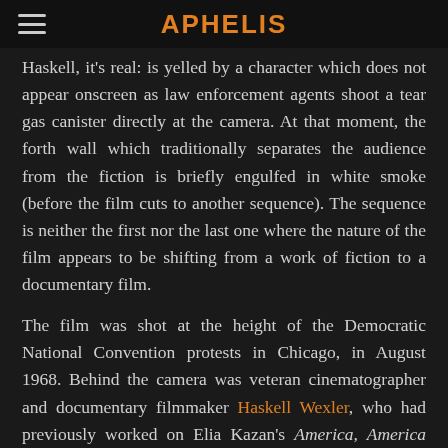APHELIS
Haskell, it's real:  is yelled by a character which does not appear onscreen as law enforcement agents shoot a tear gas canister directly at the camera. At that moment, the forth wall which traditionally separates the audience from the fiction is briefly engulfed in white smoke (before the film cuts to another sequence). The sequence is neither the first nor the last one where the nature of the film appears to be shifting from a work of fiction to a documentary film.
The film was shot at the height of the Democratic National Convention protests in Chicago, in August 1968. Behind the camera was veteran cinematographer and documentary filmmaker Haskell Wexler, who had previously worked on Elia Kazan's America, America (1963) and won an Oscar for Best Cinematography on Who's Afraid of Virginia Woolf? (1966). In the summer